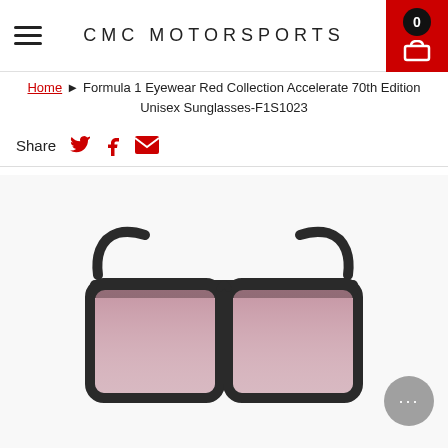CMC MOTORSPORTS
Home > Formula 1 Eyewear Red Collection Accelerate 70th Edition Unisex Sunglasses-F1S1023
Share
4 IN STOCK
[Figure (photo): Front-facing pair of unisex sunglasses with dark frames and light pink/rose gradient lenses, displayed on white background]